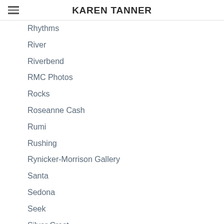KAREN TANNER
Rhythms
River
Riverbend
RMC Photos
Rocks
Roseanne Cash
Rumi
Rushing
Rynicker-Morrison Gallery
Santa
Sedona
Seek
Silver Crest
Sip N Paint
Sitka
Skull
Sky Is Falling
Skyview High
Smudge Bundles
Smudging